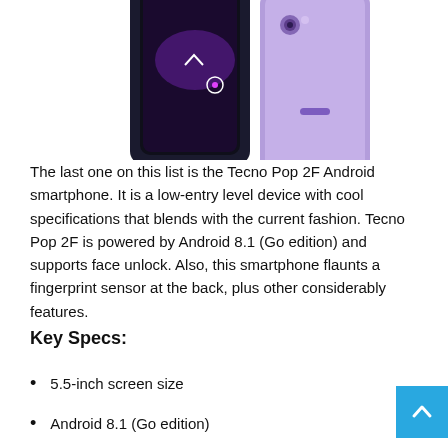[Figure (photo): Two Tecno Pop 2F smartphones shown front and back, in purple/dark color, partially cropped at top of page.]
The last one on this list is the Tecno Pop 2F Android smartphone. It is a low-entry level device with cool specifications that blends with the current fashion. Tecno Pop 2F is powered by Android 8.1 (Go edition) and supports face unlock. Also, this smartphone flaunts a fingerprint sensor at the back, plus other considerably features.
Key Specs:
5.5-inch screen size
Android 8.1 (Go edition)